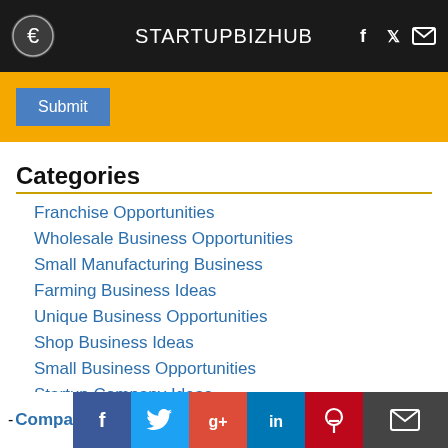STARTUPBIZHUB
[Figure (other): Orange banner with a blue Submit button]
Categories
Franchise Opportunities
Wholesale Business Opportunities
Small Manufacturing Business
Farming Business Ideas
Unique Business Opportunities
Shop Business Ideas
Small Business Opportunities
Startup Company Ideas
- Company
[Figure (other): Social sharing bar with Facebook, Twitter, Google+, LinkedIn, Pinterest, and email icons]